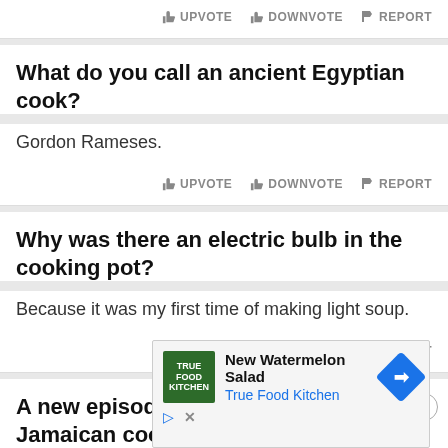...a pump, or some other.
UPVOTE   DOWNVOTE   REPORT
What do you call an ancient Egyptian cook?
Gordon Rameses.
UPVOTE   DOWNVOTE   REPORT
Why was there an electric bulb in the cooking pot?
Because it was my first time of making light soup.
UPVOTE   DOWNVOTE   REPORT
A new episode of my favorite Jamaican cooking show just came on
Wha...
REPORT
[Figure (screenshot): Advertisement for True Food Kitchen - New Watermelon Salad, with logo, text, blue arrow button, play and close icons]